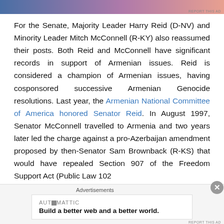[Figure (other): Top advertisement banner with gradient colors (blue to pink to light red)]
For the Senate, Majority Leader Harry Reid (D-NV) and Minority Leader Mitch McConnell (R-KY) also reassumed their posts. Both Reid and McConnell have significant records in support of Armenian issues. Reid is considered a champion of Armenian issues, having cosponsored successive Armenian Genocide resolutions. Last year, the Armenian National Committee of America honored Senator Reid. In August 1997, Senator McConnell travelled to Armenia and two years later led the charge against a pro-Azerbaijan amendment proposed by then-Senator Sam Brownback (R-KS) that would have repealed Section 907 of the Freedom Support Act (Public Law 102
[Figure (other): Bottom advertisement box from Automattic: 'Build a better web and a better world.']